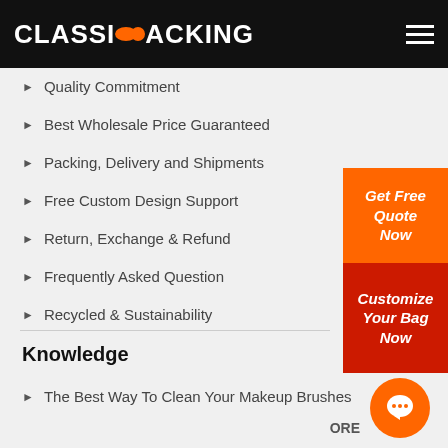CLASSICOOPACKING
Quality Commitment
Best Wholesale Price Guaranteed
Packing, Delivery and Shipments
Free Custom Design Support
Return, Exchange & Refund
Frequently Asked Question
Recycled & Sustainability
[Figure (other): Orange CTA button: Get Free Quote Now]
[Figure (other): Red CTA button: Customize Your Bag Now]
Knowledge
The Best Way To Clean Your Makeup Brushes
[Figure (other): Orange chat bubble icon with speech bubble symbol]
ORE